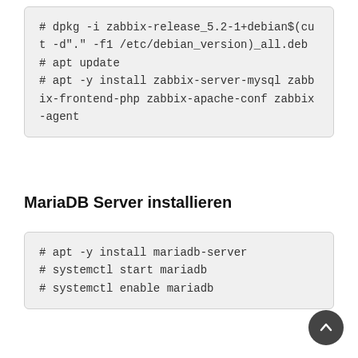# dpkg -i zabbix-release_5.2-1+debian$(cut -d"." -f1 /etc/debian_version)_all.deb
# apt update
# apt -y install zabbix-server-mysql zabbix-frontend-php zabbix-apache-conf zabbix-agent
MariaDB Server installieren
# apt -y install mariadb-server
# systemctl start mariadb
# systemctl enable mariadb